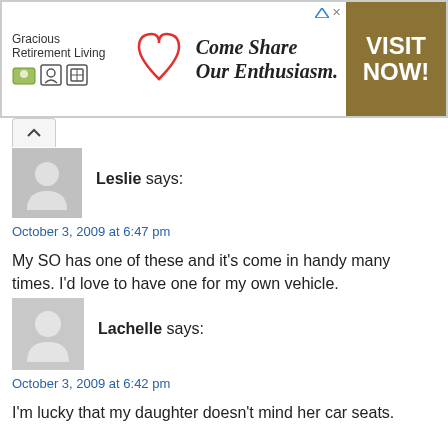[Figure (screenshot): Advertisement banner for Gracious Retirement Living with tagline 'Come Share Our Enthusiasm.' and 'VISIT NOW!' call to action button in gold/brown]
Leslie says:
October 3, 2009 at 6:47 pm
My SO has one of these and it's come in handy many times. I'd love to have one for my own vehicle.
Reply
Lachelle says:
October 3, 2009 at 6:42 pm
I'm lucky that my daughter doesn't mind her car seats.